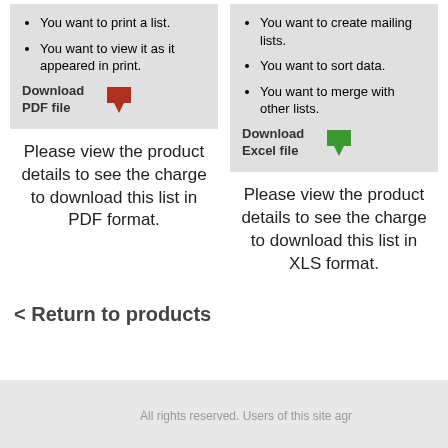You want to print a list.
You want to view it as it appeared in print.
Download PDF file
Please view the product details to see the charge to download this list in PDF format.
You want to create mailing lists.
You want to sort data.
You want to merge with other lists.
Download Excel file
Please view the product details to see the charge to download this list in XLS format.
< Return to products
All rights reserved. Users of this site agr